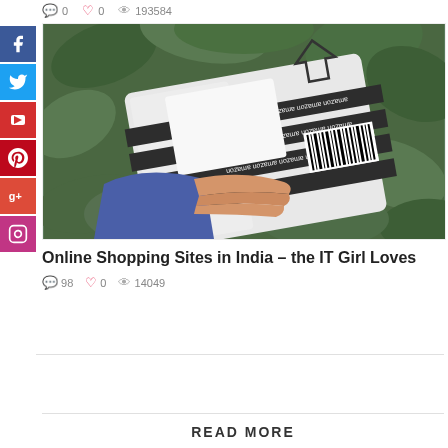0  0  193584
[Figure (photo): Hand holding an Amazon branded plastic delivery bag/package against green leafy background]
Online Shopping Sites in India - the IT Girl Loves
98  0  14049
READ MORE